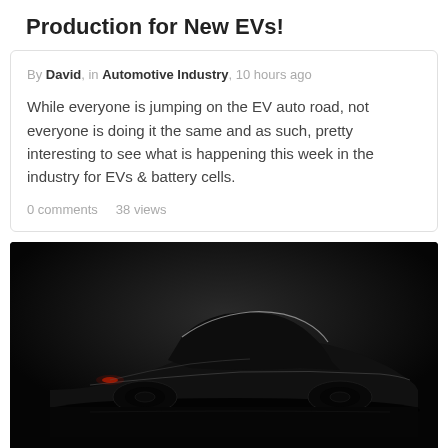Production for New EVs!
By David, in Automotive Industry, 10 hours ago
While everyone is jumping on the EV auto road, not everyone is doing it the same and as such, pretty interesting to see what is happening this week in the industry for EVs & battery cells.
0 comments   38 views
[Figure (photo): Dark dramatic photo of a sleek electric sports car silhouetted against a black background, with subtle highlights on the roofline and body contours.]